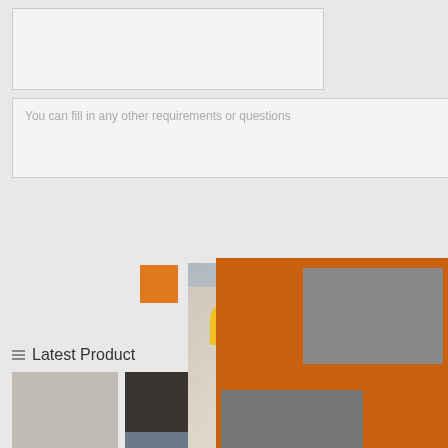[Figure (other): Empty form input box (top)]
You can fill in any other requirements or questions
[Figure (other): Live Chat popup overlay with workers in hard hats, red LIVE CHAT title, 'Click for a Free Consultation' subtitle, Chat now (red) and Chat later (dark) buttons, and close circle button]
[Figure (other): Right sidebar panel showing industrial machinery on orange background, 'Enjoy 3% discount / Click to Chat' yellow/orange banner, Enquiry button, and email limingjlmofen@sina.com]
Latest Product
[Figure (photo): Product thumbnail - industrial crusher machine]
[Figure (photo): Product thumbnail - industrial equipment black]
[Figure (photo): Product thumbnail - industrial vertical equipment]
[Figure (photo): Product thumbnail - industrial tower equipment]
[Figure (photo): Product thumbnail row 2 item 1]
[Figure (photo): Product thumbnail row 2 item 2]